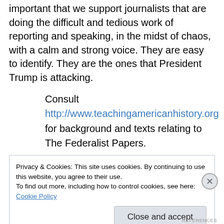important that we support journalists that are doing the difficult and tedious work of reporting and speaking, in the midst of chaos, with a calm and strong voice. They are easy to identify. They are the ones that President Trump is attacking.
Consult http://www.teachingamericanhistory.org for background and texts relating to The Federalist Papers.
I also invite your to read Homo Academicus, my serial novel, which is being published at
Privacy & Cookies: This site uses cookies. By continuing to use this website, you agree to their use.
To find out more, including how to control cookies, see here: Cookie Policy